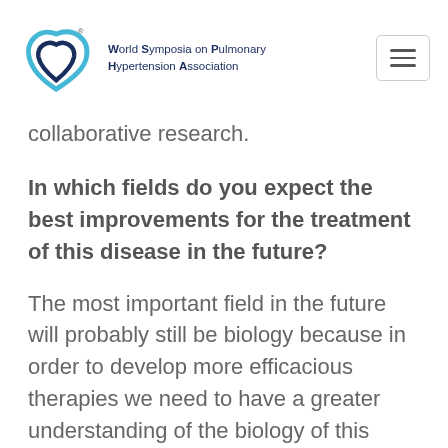World Symposia on Pulmonary Hypertension Association
collaborative research.
In which fields do you expect the best improvements for the treatment of this disease in the future?
The most important field in the future will probably still be biology because in order to develop more efficacious therapies we need to have a greater understanding of the biology of this disease. Another focus is